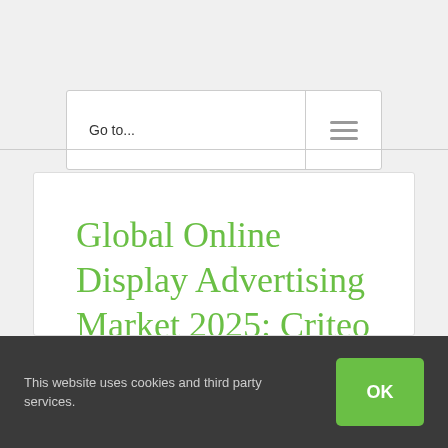Go to...
Global Online Display Advertising Market 2025: Criteo Dynamic Retargeting, DoubleClick Digital
This website uses cookies and third party services.